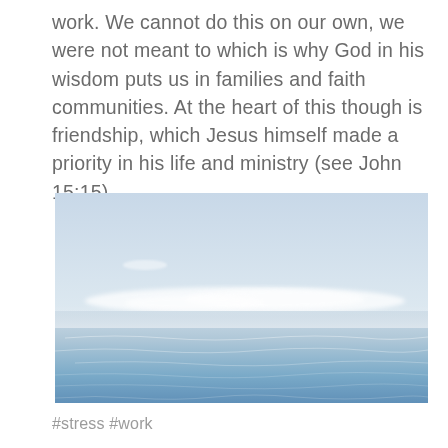work. We cannot do this on our own, we were not meant to which is why God in his wisdom puts us in families and faith communities. At the heart of this though is friendship, which Jesus himself made a priority in his life and ministry (see John 15:15).
[Figure (photo): Calm ocean water with gentle ripples in the foreground, a low horizon line with white clouds, and a pale blue sky. The image has a soft, serene, slightly hazy appearance.]
#stress #work